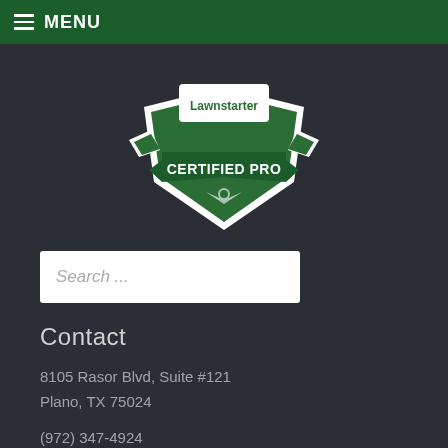MENU
[Figure (logo): Lawnstarter Certified Pro badge — green shield shape with white border, text 'Lawnstarter' at top and 'CERTIFIED PRO' in large letters, small power/leaf icon at bottom]
Search ...
Contact
8105 Rasor Blvd, Suite #121
Plano, TX 75024
(972) 347-4924